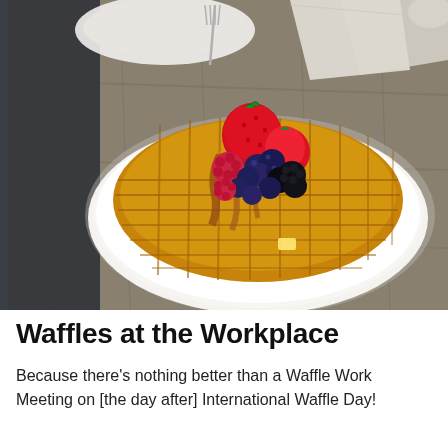[Figure (photo): A photograph of a large golden waffle on a white plate, topped with mixed berries including strawberries, blueberries, and blackberries, with syrup drizzled over it. The plate sits on a gray wooden table. In the background, another plate with food, a fork, and folded napkins are visible.]
Waffles at the Workplace
Because there's nothing better than a Waffle Work Meeting on [the day after] International Waffle Day!